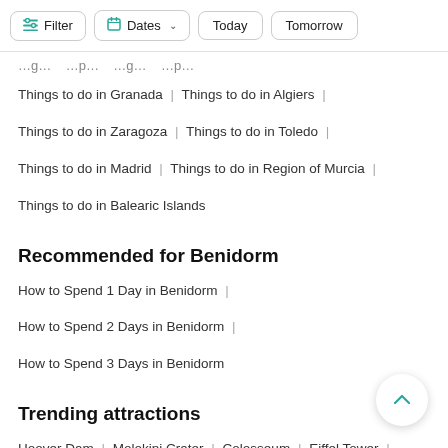Filter | Dates | Today | Tomorrow
Things to do in Granada | Things to do in Algiers |
Things to do in Zaragoza | Things to do in Toledo |
Things to do in Madrid | Things to do in Region of Murcia |
Things to do in Balearic Islands
Recommended for Benidorm
How to Spend 1 Day in Benidorm |
How to Spend 2 Days in Benidorm |
How to Spend 3 Days in Benidorm
Trending attractions
Hoover Dam | Molokini Crater | Colosseum | Eiffel Tower |